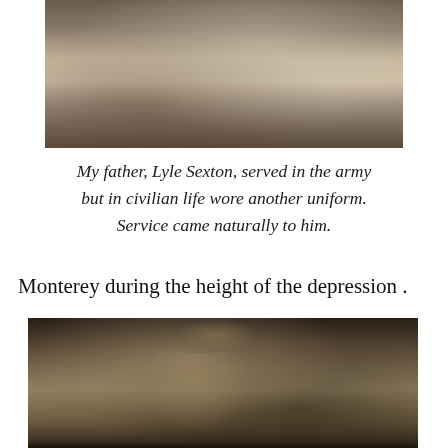[Figure (photo): Black and white historical photograph cropped at top, showing a partial figure, sepia-toned]
My father, Lyle Sexton, served in the army but in civilian life wore another uniform. Service came naturally to him.
Monterey during the height of the depression .
[Figure (photo): Black and white historical photograph of a young soldier or military person wearing a hat and carrying equipment including a backpack and binoculars, sepia-toned portrait]